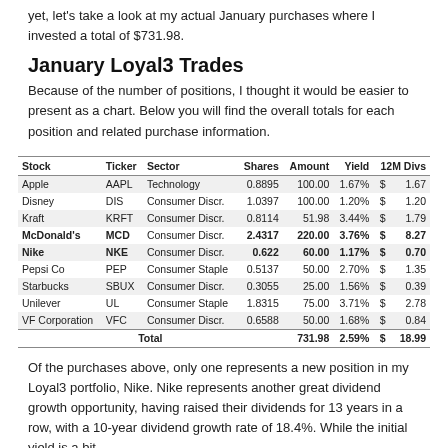yet, let's take a look at my actual January purchases where I invested a total of $731.98.
January Loyal3 Trades
Because of the number of positions, I thought it would be easier to present as a chart. Below you will find the overall totals for each position and related purchase information.
| Stock | Ticker | Sector | Shares | Amount | Yield | 12M Divs |
| --- | --- | --- | --- | --- | --- | --- |
| Apple | AAPL | Technology | 0.8895 | 100.00 | 1.67% | $ | 1.67 |
| Disney | DIS | Consumer Discr. | 1.0397 | 100.00 | 1.20% | $ | 1.20 |
| Kraft | KRFT | Consumer Discr. | 0.8114 | 51.98 | 3.44% | $ | 1.79 |
| McDonald's | MCD | Consumer Discr. | 2.4317 | 220.00 | 3.76% | $ | 8.27 |
| Nike | NKE | Consumer Discr. | 0.622 | 60.00 | 1.17% | $ | 0.70 |
| Pepsi Co | PEP | Consumer Staple | 0.5137 | 50.00 | 2.70% | $ | 1.35 |
| Starbucks | SBUX | Consumer Discr. | 0.3055 | 25.00 | 1.56% | $ | 0.39 |
| Unilever | UL | Consumer Staple | 1.8315 | 75.00 | 3.71% | $ | 2.78 |
| VF Corporation | VFC | Consumer Discr. | 0.6588 | 50.00 | 1.68% | $ | 0.84 |
| Total |  |  |  | 731.98 | 2.59% | $ | 18.99 |
Of the purchases above, only one represents a new position in my Loyal3 portfolio, Nike. Nike represents another great dividend growth opportunity, having raised their dividends for 13 years in a row, with a 10-year dividend growth rate of 18.4%. While the initial yield is a bit